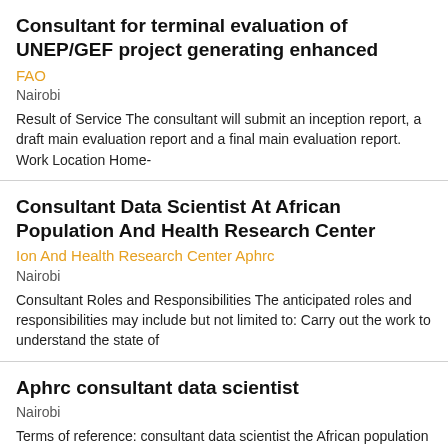Consultant for terminal evaluation of UNEP/GEF project generating enhanced
FAO
Nairobi
Result of Service The consultant will submit an inception report, a draft main evaluation report and a final main evaluation report. Work Location Home-
Consultant Data Scientist At African Population And Health Research Center
Ion And Health Research Center Aphrc
Nairobi
Consultant Roles and Responsibilities The anticipated roles and responsibilities may include but not limited to: Carry out the work to understand the state of
Aphrc consultant data scientist
Nairobi
Terms of reference: consultant data scientist the African population and health research center (aphrc) is an African-led and Africa- based international
National Consultant - Environmental Law Expert (Vietnam)